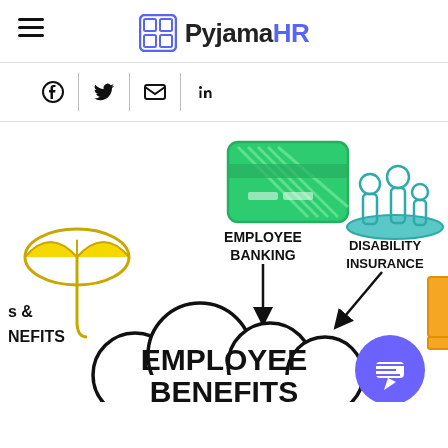PyjamaHR
[Figure (infographic): Employee Benefits mind-map infographic showing icons for Employee Banking (green credit card icon), Disability Insurance (teal family/hand icon), an umbrella icon for another benefit, and 'EMPLOYEE BENEFITS' text in a cloud shape in the center. Partially cropped on left and right edges.]